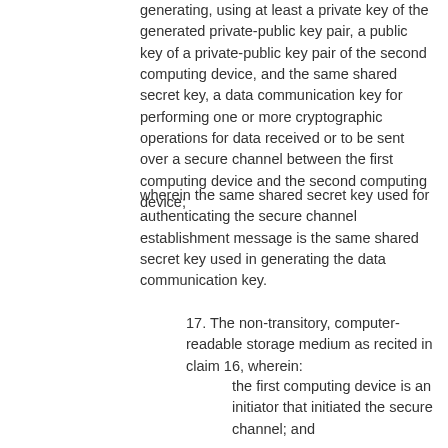generating, using at least a private key of the generated private-public key pair, a public key of a private-public key pair of the second computing device, and the same shared secret key, a data communication key for performing one or more cryptographic operations for data received or to be sent over a secure channel between the first computing device and the second computing device;
wherein the same shared secret key used for authenticating the secure channel establishment message is the same shared secret key used in generating the data communication key.
17. The non-transitory, computer-readable storage medium as recited in claim 16, wherein:
the first computing device is an initiator that initiated the secure channel; and
when executed by the at least one hardware processor the program instructions further cause the at least one hardware processor to perform:
sending a request for a data stream to a hub;